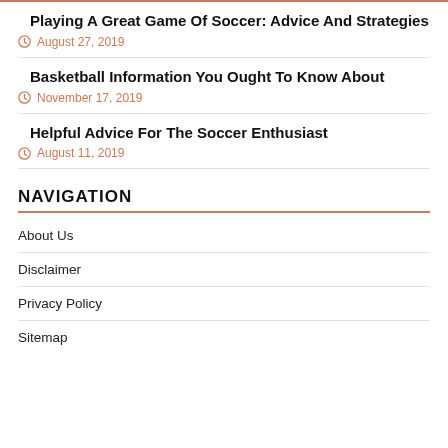Playing A Great Game Of Soccer: Advice And Strategies
August 27, 2019
Basketball Information You Ought To Know About
November 17, 2019
Helpful Advice For The Soccer Enthusiast
August 11, 2019
NAVIGATION
About Us
Disclaimer
Privacy Policy
Sitemap